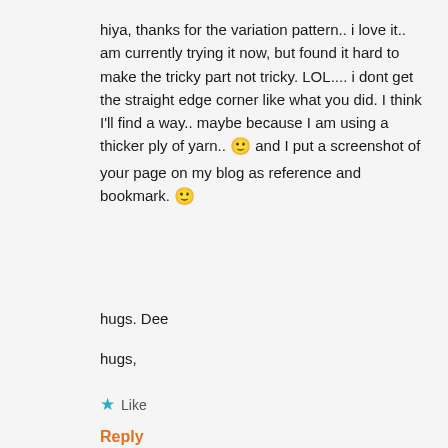hiya, thanks for the variation pattern.. i love it.. am currently trying it now, but found it hard to make the tricky part not tricky. LOL.... i dont get the straight edge corner like what you did. I think I'll find a way.. maybe because I am using a thicker ply of yarn.. 🙂 and I put a screenshot of your page on my blog as reference and bookmark. 🙂
hugs. Dee
hugs,
★ Like
Reply
Advertisements
[Figure (screenshot): Bloomingdale's advertisement banner: 'bloomingdales — View Today's Top Deals!' with SHOP NOW > button and a woman in a wide-brim hat.]